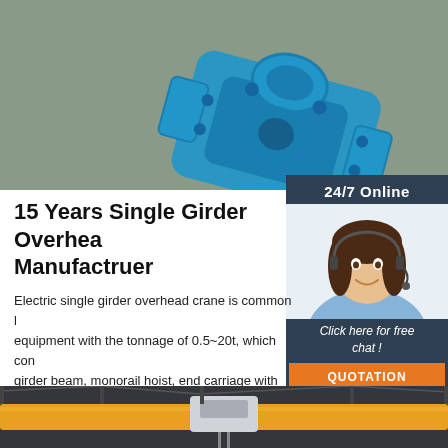[Figure (photo): Blue painted overhead crane component (likely a trolley or end carriage assembly) on a gray concrete floor, photographed from above.]
24/7 Online
[Figure (photo): Customer service representative woman wearing a headset, smiling, in a light blue shirt, against a white background.]
Click here for free chat !
QUOTATION
15 Years Single Girder Overhead Crane Manufactruer
Electric single girder overhead crane is common lifting equipment with the tonnage of 0.5~20t, which consists of girder beam, monorail hoist, end carriage with motor, and panels. It can be installed on the steel columns.
Get Price
[Figure (photo): Interior industrial photo showing an overhead crane structure with yellow/orange beam, inside a building with steel roof trusses visible.]